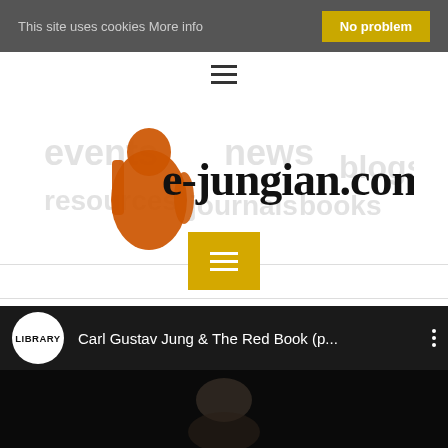This site uses cookies More info  No problem
[Figure (logo): e-jungian.com website logo with orange Jung figure and watermark text: events, news, resources, journals, books, blogs]
[Figure (screenshot): Yellow menu button with three horizontal white lines (hamburger icon)]
[Figure (screenshot): YouTube video thumbnail: Carl Gustav Jung & The Red Book (p... with LIBRARY channel badge and three-dot menu]